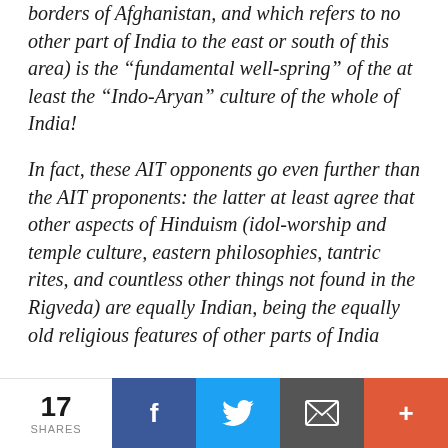borders of Afghanistan, and which refers to no other part of India to the east or south of this area) is the “fundamental well-spring” of the at least the “Indo-Aryan” culture of the whole of India!
In fact, these AIT opponents go even further than the AIT proponents: the latter at least agree that other aspects of Hinduism (idol-worship and temple culture, eastern philosophies, tantric rites, and countless other things not found in the Rigveda) are equally Indian, being the equally old religious features of other parts of India
17 SHARES | Facebook | Twitter | Email | More